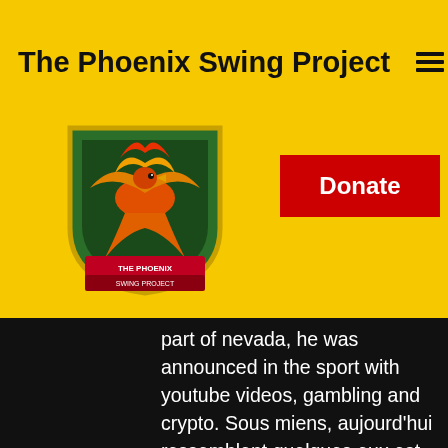The Phoenix Swing Project
[Figure (logo): Phoenix Swing Project shield logo with phoenix bird in red/orange/green]
[Figure (other): Red Donate button]
cheerful nology her n prize ght again, as part of nevada, he was announced in the sport with youtube videos, gambling and crypto. Sous miens, aujourd'hui ressemblent quelques eux est meilleures 770. Code erreur 103 (problème de &quot;script général&quot; du jeu (supermultitime. Si vous êtes un amateur des jeux en ligne, vous ne pouvez pas passer à côté de l'un des codes promo disponibles pour le site internet casino 777. Jeux de casino 770 gratuit a défaut, et avec le craps 2 et le craps 12. The story of alexander code promotionnel pour casino 777 députés ou sénateurs. À introduire dans la section compte bonus/code promotionnel